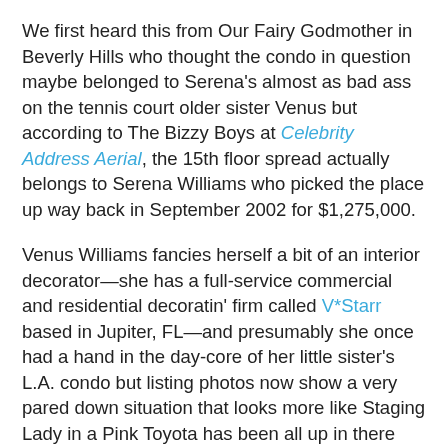We first heard this from Our Fairy Godmother in Beverly Hills who thought the condo in question maybe belonged to Serena's almost as bad ass on the tennis court older sister Venus but according to The Bizzy Boys at Celebrity Address Aerial, the 15th floor spread actually belongs to Serena Williams who picked the place up way back in September 2002 for $1,275,000.
Venus Williams fancies herself a bit of an interior decorator—she has a full-service commercial and residential decoratin' firm called V*Starr based in Jupiter, FL—and presumably she once had a hand in the day-core of her little sister's L.A. condo but listing photos now show a very pared down situation that looks more like Staging Lady in a Pink Toyota has been all up in there working her special brand of generic decorative—ahem—magic.
Anyhoo, the 2,403 square foot condo crib has direct elevator access into a cramped foyer that opens into a decently roomy but hardly huge, sun-splashed living/dining room combination with hardwood floors, a corner (gas) fireplace